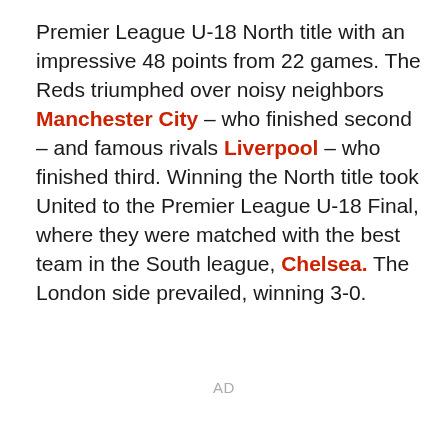Premier League U-18 North title with an impressive 48 points from 22 games. The Reds triumphed over noisy neighbors Manchester City – who finished second – and famous rivals Liverpool – who finished third. Winning the North title took United to the Premier League U-18 Final, where they were matched with the best team in the South league, Chelsea. The London side prevailed, winning 3-0.
AD